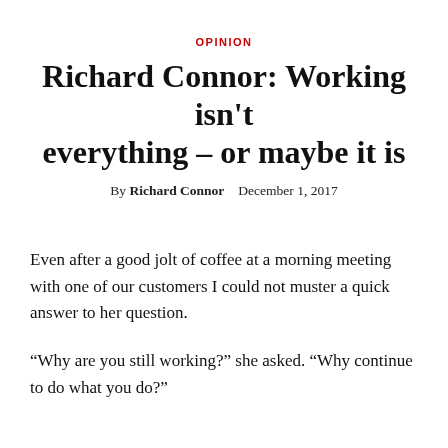OPINION
Richard Connor: Working isn't everything – or maybe it is
By Richard Connor   December 1, 2017
Even after a good jolt of coffee at a morning meeting with one of our customers I could not muster a quick answer to her question.
“Why are you still working?” she asked. “Why continue to do what you do?”